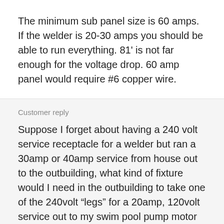The minimum sub panel size is 60 amps. If the welder is 20-30 amps you should be able to run everything. 81' is not far enough for the voltage drop. 60 amp panel would require #6 copper wire.
Customer reply
Suppose I forget about having a 240 volt service receptacle for a welder but ran a 30amp or 40amp service from house out to the outbuilding, what kind of fixture would I need in the outbuilding to take one of the 240volt “legs” for a 20amp, 120volt service out to my swim pool pump motor and take the other leg for a 15amp, 120 volt circuit to power lights in the outbuilding?